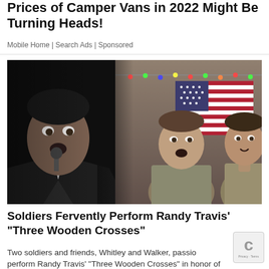Prices of Camper Vans in 2022 Might Be Turning Heads!
Mobile Home | Search Ads | Sponsored
[Figure (photo): Composite image showing a man singing into a microphone on the left (dramatic dark scene) and two young soldiers/men singing in front of an American flag with Christmas lights on the right]
Soldiers Fervently Perform Randy Travis' "Three Wooden Crosses"
Two soldiers and friends, Whitley and Walker, passionately perform Randy Travis' "Three Wooden Crosses" in honor of